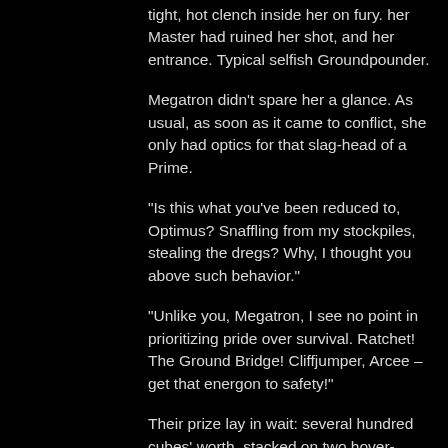tight, hot clench inside her on fury. her Master had ruined her shot, and her entrance. Typical selfish Groundpounder.
Megatron didn't spare her a glance. As usual, as soon as it came to conflict, she only had optics for that slag-head of a Prime.
“Is this what you’ve been reduced to, Optimus? Snaffling from my stockpiles, stealing the dregs? Why, I thought you above such behavior.”
“Unlike you, Megatron, I see no point in prioritizing pride over survival. Ratchet! The Ground Bridge! Cliffjumper, Arcee – get that energon to safety!”
Their prize lay in wait: several hundred cubes’ worth, stacked on two hover-trolleys that the Eradicons had been in